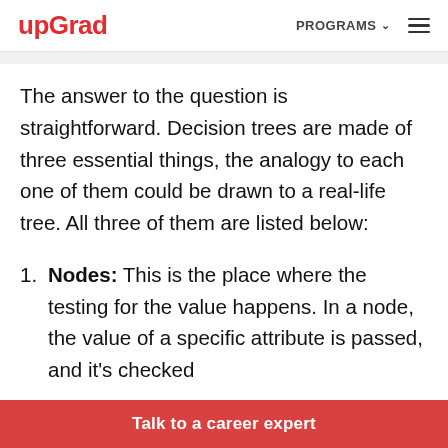upGrad | PROGRAMS
The answer to the question is straightforward. Decision trees are made of three essential things, the analogy to each one of them could be drawn to a real-life tree. All three of them are listed below:
Nodes: This is the place where the testing for the value happens. In a node, the value of a specific attribute is passed, and it's checked
Talk to a career expert